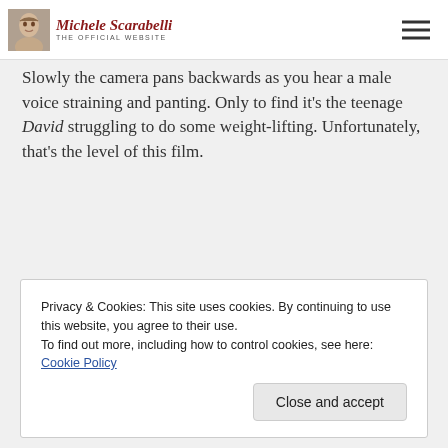Michele Scarabelli – The Official Website
Slowly the camera pans backwards as you hear a male voice straining and panting. Only to find it's the teenage David struggling to do some weight-lifting. Unfortunately, that's the level of this film.
Privacy & Cookies: This site uses cookies. By continuing to use this website, you agree to their use.
To find out more, including how to control cookies, see here: Cookie Policy
Close and accept